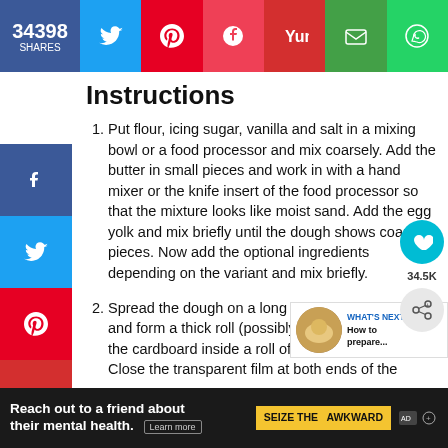34398 SHARES — social share bar (Facebook, Twitter, Pinterest, Pocket, Yummly, Email, WhatsApp)
Instructions
Put flour, icing sugar, vanilla and salt in a mixing bowl or a food processor and mix coarsely. Add the butter in small pieces and work in with a hand mixer or the knife insert of the food processor so that the mixture looks like moist sand. Add the egg yolk and mix briefly until the dough shows coarse pieces. Now add the optional ingredients depending on the variant and mix briefly.
Spread the dough on a long piece of and form a thick roll (possibly with th the cardboard inside a roll of kitchen towel). Close the transparent film at both ends of the
[Figure (other): What's Next thumbnail — circular food image with label 'WHAT'S NEXT → How to prepare...']
Reach out to a friend about their mental health. Learn more — SEIZE THE AWKWARD